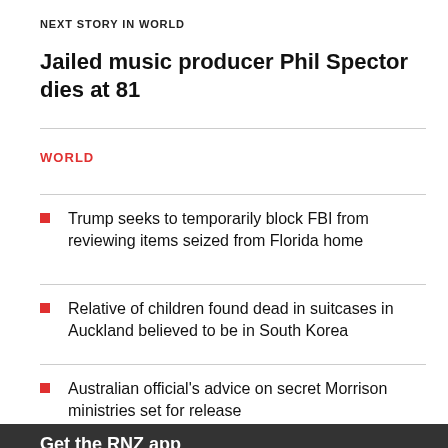NEXT STORY IN WORLD
Jailed music producer Phil Spector dies at 81
WORLD
Trump seeks to temporarily block FBI from reviewing items seized from Florida home
Relative of children found dead in suitcases in Auckland believed to be in South Korea
Australian official's advice on secret Morrison ministries set for release
Get the RNZ app
for ad-free news and current affairs